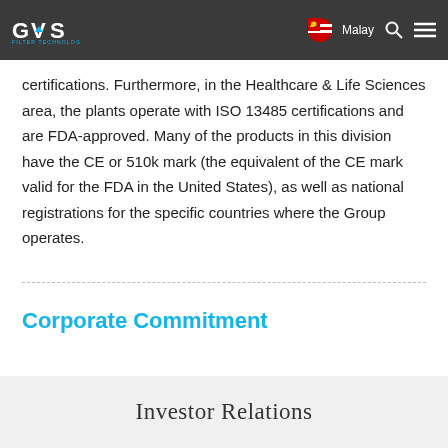GVS Filter Technology — Malay [navigation header]
certifications. Furthermore, in the Healthcare & Life Sciences area, the plants operate with ISO 13485 certifications and are FDA-approved. Many of the products in this division have the CE or 510k mark (the equivalent of the CE mark valid for the FDA in the United States), as well as national registrations for the specific countries where the Group operates.
Corporate Commitment
Investor Relations